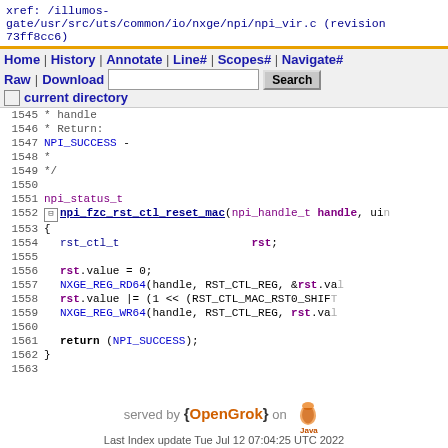xref: /illumos-gate/usr/src/uts/common/io/nxge/npi/npi_vir.c (revision 73ff8cc6)
Home | History | Annotate | Line# | Scopes# | Navigate# | Raw | Download  [search box]  Search  current directory
1545  * handle
1546  * Return:
1547  NPI_SUCCESS  -
1548  *
1549  */
1550  
1551  npi_status_t
1552  npi_fzc_rst_ctl_reset_mac(npi_handle_t handle, uin
1553  {
1554      rst_ctl_t                    rst;
1555  
1556      rst.value = 0;
1557      NXGE_REG_RD64(handle, RST_CTL_REG, &rst.va
1558      rst.value |= (1 << (RST_CTL_MAC_RST0_SHIFT
1559      NXGE_REG_WR64(handle, RST_CTL_REG, rst.val
1560  
1561      return (NPI_SUCCESS);
1562  }
1563
served by {OpenGrok} on Java
Last Index update Tue Jul 12 07:04:25 UTC 2022